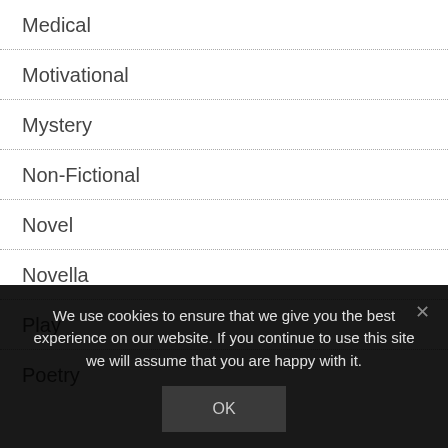Medical
Motivational
Mystery
Non-Fictional
Novel
Novella
Play
Poetry
We use cookies to ensure that we give you the best experience on our website. If you continue to use this site we will assume that you are happy with it.
OK